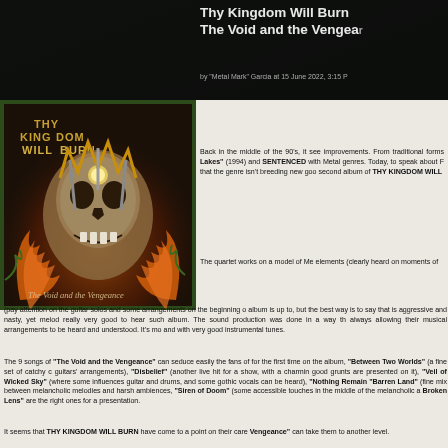Thy Kingdom Will Burn The Void and the Vengeance
by "Metal Mark" Garcia at 15 June 2022, 3:15 P
[Figure (illustration): Album cover art for Thy Kingdom Will Burn - The Void and the Vengeance, showing a dark skull/creature with flames and spikes on a dark background]
Back in the middle of the 90's, it see improvements. From traditional forms Lakes" (1994) and SENTENCED with Metal genres. Today, to speak about F that the genre isn't breeding new goo second album of THY KINGDOM WILL
The quartet works on a model of Me elements (clearly heard on moments of (pay attention on the guitar solos and some arrangements on the beginning o album is up to, but the best way is to say that is aggressive and nasty, yet melod really very good to hear such album. The sound production was done in a way th always allowing their musical arrangements to be heard and understood. It's mo and with very good instrumental tunes.
The 9 songs of "The Void and the Vengeance" can seduce easily the fans of for the first time on the album, "Between Two Worlds" (a fine set of catchy c guitars' arrangements), "Disbelief" (another live hit for a show, with a charmin good grunts are presented on it), "Veil of Wicked Sky" (where some influences guitar and drums, and some gothic vocals can be heard), "Nothing Remain "Barren Land" (fine mix between melancholic melodies and harsh ambiences, "Siren of Doom" (some accessible touches in the middle of the melancholic a Broken Lens" are the right ones for a presentation.
It seems that THY KINGDOM WILL BURN have come to a point on their care Vengeance" can take them to another level.